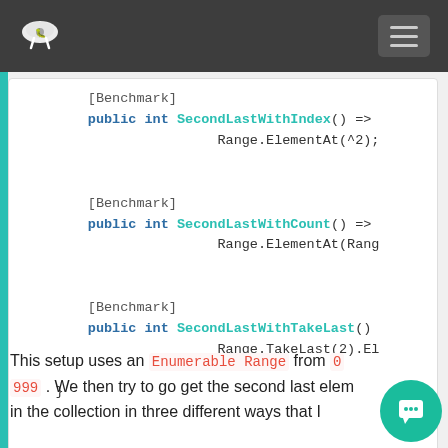[navbar with logo and menu]
[Figure (screenshot): Code block showing three C# benchmark methods: SecondLastWithIndex, SecondLastWithCount, SecondLastWithTakeLast, each marked with [Benchmark] attribute]
This setup uses an Enumerable Range from 0 999 . We then try to go get the second last element in the collection in three different ways that I